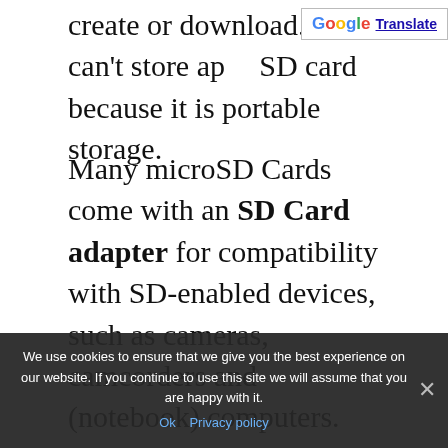create or download. You can't store ap… SD card because it is portable storage.
[Figure (screenshot): Google Translate button widget in top right corner]
Many microSD Cards come with an SD Card adapter for compatibility with SD-enabled devices, such as cameras, camcorders and (notebook) computers. Memory cards usually come pre-formatted and do not need to be formatted out of the box. MicroSDHC/MicroSDXC host devices are required to accept older MicroSD cards. If you insert a card formatted with an unsupported file system, the device will ask you to reformat the memory card. Formatting your memory card on a PC may cause incompatibilities with your device. It's
We use cookies to ensure that we give you the best experience on our website. If you continue to use this site we will assume that you are happy with it.